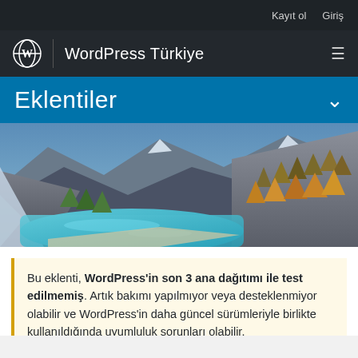Kayıt ol   Giriş
WordPress Türkiye
Eklentiler
[Figure (photo): Aerial landscape photo showing a turquoise glacial lake surrounded by rocky mountains and autumn-colored forests]
Bu eklenti, WordPress'in son 3 ana dağıtımı ile test edilmemiş. Artık bakımı yapılmıyor veya desteklenmiyor olabilir ve WordPress'in daha güncel sürümleriyle birlikte kullanıldığında uyumluluk sorunları olabilir.